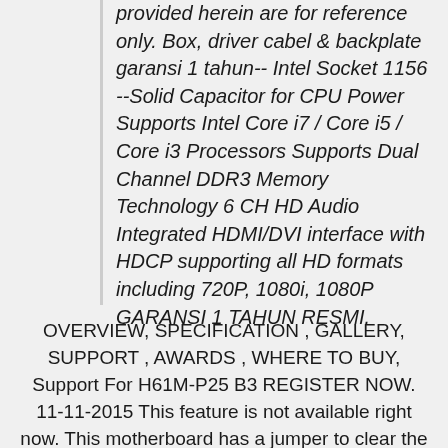provided herein are for reference only. Box, driver cabel & backplate garansi 1 tahun-- Intel Socket 1156 --Solid Capacitor for CPU Power Supports Intel Core i7 / Core i5 / Core i3 Processors Supports Dual Channel DDR3 Memory Technology 6 CH HD Audio Integrated HDMI/DVI interface with HDCP supporting all HD formats including 720P, 1080i, 1080P GARANSI 1 TAHUN RESMI.
OVERVIEW, SPECIFICATION , GALLERY, SUPPORT , AWARDS , WHERE TO BUY, Support For H61M-P25 B3 REGISTER NOW. 11-11-2015 This feature is not available right now. This motherboard has a jumper to clear the Real Time Clock RTC RAM in CMOS. Download our brochures,